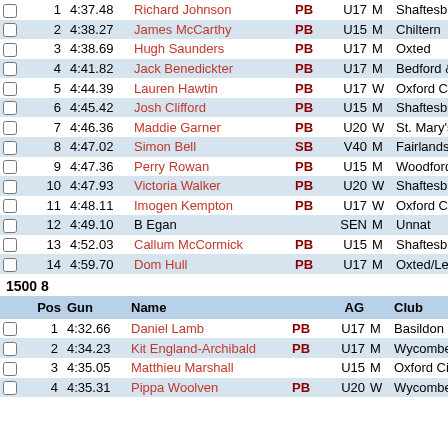|  | Pos | Gun | Name |  | AG |  | Club |
| --- | --- | --- | --- | --- | --- | --- | --- |
|  | 1 | 4:37.48 | Richard Johnson | PB | U17 | M | Shaftesbur |
|  | 2 | 4:38.27 | James McCarthy | PB | U15 | M | Chiltern |
|  | 3 | 4:38.69 | Hugh Saunders | PB | U17 | M | Oxted |
|  | 4 | 4:41.82 | Jack Benedickter | PB | U17 | M | Bedford & |
|  | 5 | 4:44.39 | Lauren Hawtin | PB | U17 | W | Oxford City |
|  | 6 | 4:45.42 | Josh Clifford | PB | U15 | M | Shaftesbur |
|  | 7 | 4:46.36 | Maddie Garner | PB | U20 | W | St. Mary's |
|  | 8 | 4:47.02 | Simon Bell | SB | V40 | M | Fairlands V |
|  | 9 | 4:47.36 | Perry Rowan | PB | U15 | M | Woodford |
|  | 10 | 4:47.93 | Victoria Walker | PB | U20 | W | Shaftesbur |
|  | 11 | 4:48.11 | Imogen Kempton | PB | U17 | W | Oxford City |
|  | 12 | 4:49.10 | B Egan |  | SEN | M | Unnat |
|  | 13 | 4:52.03 | Callum McCormick | PB | U15 | M | Shaftesbur |
|  | 14 | 4:59.70 | Dom Hull | PB | U17 | M | Oxted/Lea |
1500 8
|  | Pos | Gun | Name |  | AG |  | Club |
| --- | --- | --- | --- | --- | --- | --- | --- |
|  | 1 | 4:32.66 | Daniel Lamb | PB | U17 | M | Basildon |
|  | 2 | 4:34.23 | Kit England-Archibald | PB | U17 | M | Wycombe |
|  | 3 | 4:35.05 | Matthieu Marshall |  | U15 | M | Oxford City |
|  | 4 | 4:35.31 | Pippa Woolven | PB | U20 | W | Wycombe |